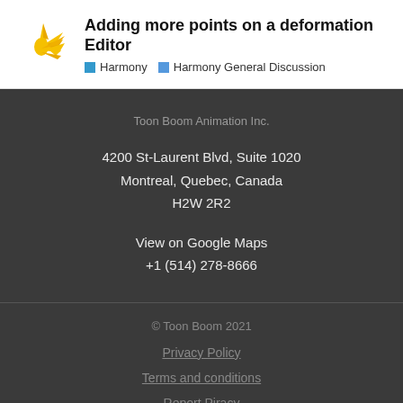Adding more points on a deformation Editor
Harmony   Harmony General Discussion
Toon Boom Animation Inc.
4200 St-Laurent Blvd, Suite 1020
Montreal, Quebec, Canada
H2W 2R2
View on Google Maps
+1 (514) 278-8666
© Toon Boom 2021
Privacy Policy
Terms and conditions
Report Piracy